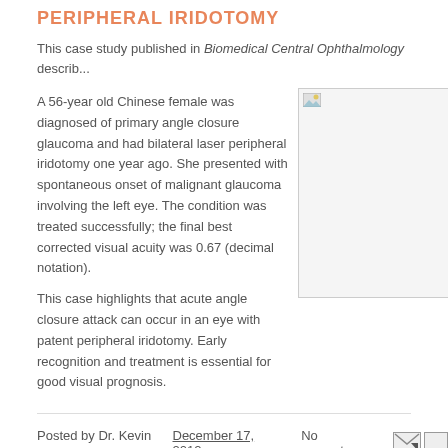PERIPHERAL IRIDOTOMY
This case study published in Biomedical Central Ophthalmology describ...
A 56-year old Chinese female was diagnosed of primary angle closure glaucoma and had bilateral laser peripheral iridotomy one year ago. She presented with spontaneous onset of malignant glaucoma involving the left eye. The condition was treated successfully; the final best corrected visual acuity was 0.67 (decimal notation).
This case highlights that acute angle closure attack can occur in an eye with patent peripheral iridotomy. Early recognition and treatment is essential for good visual prognosis.
[Figure (photo): Medical image placeholder showing eye/iridotomy related image]
Posted by Dr. Kevin on December 17, 2012   No comments:
USING STEROIDS IN BACTERIAL CO...